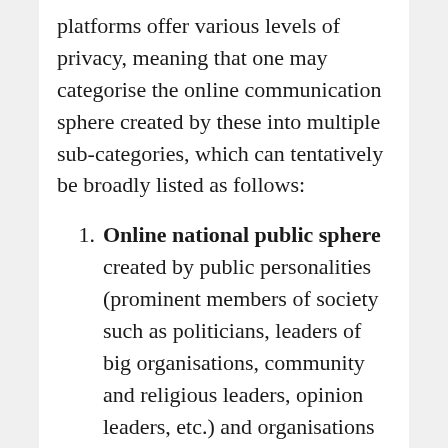platforms offer various levels of privacy, meaning that one may categorise the online communication sphere created by these into multiple sub-categories, which can tentatively be broadly listed as follows:
Online national public sphere created by public personalities (prominent members of society such as politicians, leaders of big organisations, community and religious leaders, opinion leaders, etc.) and organisations (whether public or private bodies) who decide to publish their posts on the full “public mode” level. Their content becomes accessible to anyone without the need to be